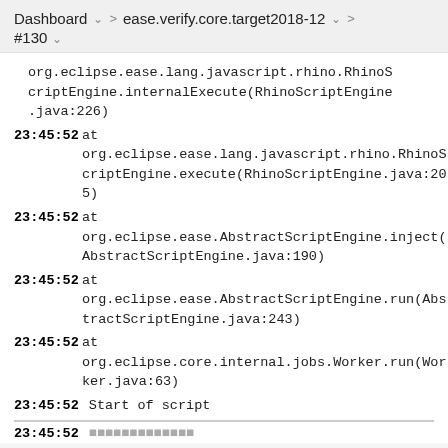Dashboard > ease.verify.core.target2018-12 > #130
org.eclipse.ease.lang.javascript.rhino.RhinoScriptEngine.internalExecute(RhinoScriptEngine.java:226)
23:45:52    at org.eclipse.ease.lang.javascript.rhino.RhinoScriptEngine.execute(RhinoScriptEngine.java:205)
23:45:52    at org.eclipse.ease.AbstractScriptEngine.inject(AbstractScriptEngine.java:190)
23:45:52    at org.eclipse.ease.AbstractScriptEngine.run(AbstractScriptEngine.java:243)
23:45:52    at org.eclipse.core.internal.jobs.Worker.run(Worker.java:63)
23:45:52  Start of script
23:45:52  ...